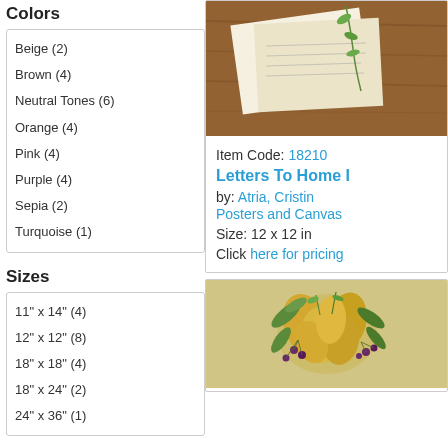Colors
Beige (2)
Brown (4)
Neutral Tones (6)
Orange (4)
Pink (4)
Purple (4)
Sepia (2)
Turquoise (1)
Sizes
11" x 14" (4)
12" x 12" (8)
18" x 18" (4)
18" x 24" (2)
24" x 36" (1)
Formats
Square (12)
Horizontal (5)
Vertical (2)
[Figure (photo): Photo of letters/papers on a wooden surface with a green sprig]
Item Code: 18210
Letters To Home I
by: Atria, Cristin
Posters and Canvas
Size: 12 x 12 in
Click here for pricing
[Figure (photo): Floral arrangement with golden flowers and berries]